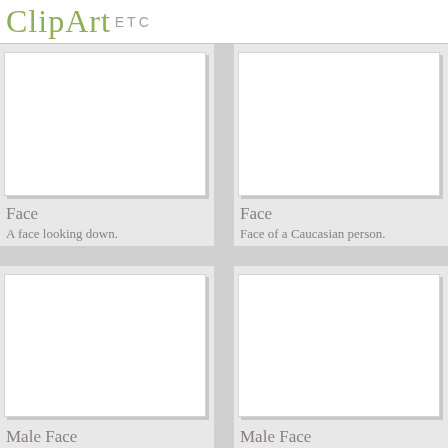ClipArt ETC
[Figure (illustration): Blank white image placeholder for a clipart of a face looking down]
Face
A face looking down.
[Figure (illustration): Blank white image placeholder for a clipart of a face of a Caucasian person]
Face
Face of a Caucasian person.
[Figure (illustration): Blank white image placeholder for a clipart of a male face]
Male Face
[Figure (illustration): Blank white image placeholder for a clipart of a male face]
Male Face